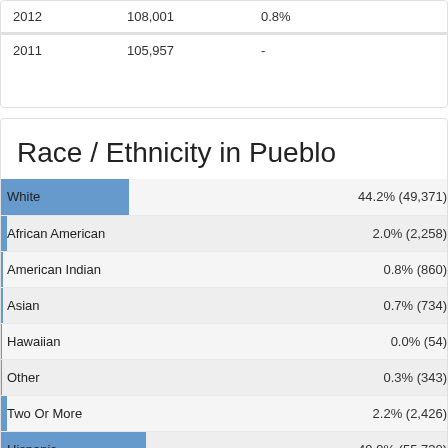| Year | Population | Change |
| --- | --- | --- |
| 2012 | 108,001 | 0.8% |
| 2011 | 105,957 | - |
Race / Ethnicity in Pueblo
[Figure (bar-chart): Race / Ethnicity in Pueblo]